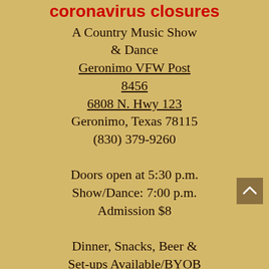coronavirus closures
A Country Music Show & Dance
Geronimo VFW Post 8456
6808 N. Hwy 123
Geronimo, Texas 78115
(830) 379-9260
Doors open at 5:30 p.m.
Show/Dance: 7:00 p.m.
Admission $8
Dinner, Snacks, Beer &
Set-ups Available/BYOB
April 21, 2020